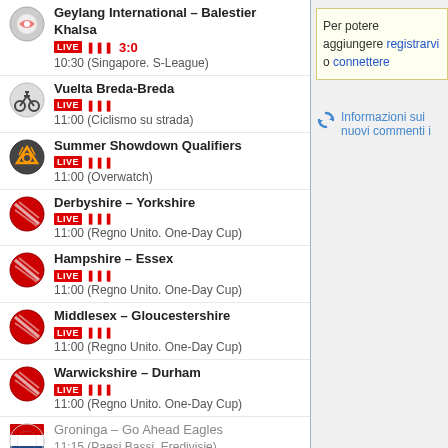Geylang International – Balestier Khalsa LIVE 3:0 10:30 (Singapore. S-League)
Vuelta Breda-Breda LIVE 11:00 (Ciclismo su strada)
Summer Showdown Qualifiers LIVE 11:00 (Overwatch)
Derbyshire – Yorkshire LIVE 11:00 (Regno Unito. One-Day Cup)
Hampshire – Essex LIVE 11:00 (Regno Unito. One-Day Cup)
Middlesex – Gloucestershire LIVE 11:00 (Regno Unito. One-Day Cup)
Warwickshire – Durham LIVE 11:00 (Regno Unito. One-Day Cup)
Groninga – Go Ahead Eagles 11:15 (Paesi Bassi. Eredivisie)
VVV-Venlo – PEC Zwolle 11:15 (Paesi Bassi. Eerste Divisie)
Poprad – Rytiri Kladno LIVE 11:30 (Amichevole)
Per potere aggiungere registrarvi o connettere
Informazioni sui nuovi commenti i